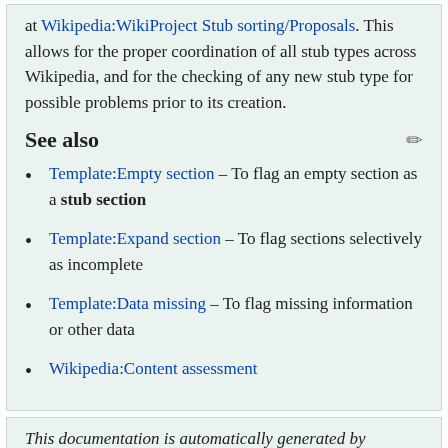at Wikipedia:WikiProject Stub sorting/Proposals. This allows for the proper coordination of all stub types across Wikipedia, and for the checking of any new stub type for possible problems prior to its creation.
See also
Template:Empty section – To flag an empty section as a stub section
Template:Expand section – To flag sections selectively as incomplete
Template:Data missing – To flag missing information or other data
Wikipedia:Content assessment
This documentation is automatically generated by